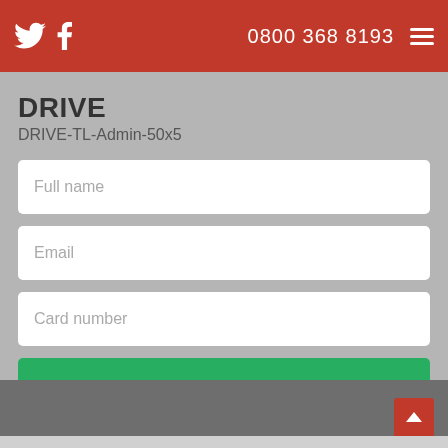0800 368 8193
DRIVE
DRIVE-TL-Admin-50x5
Full name
Email
Card number
DRIVE-TL-ADMIN-50X5